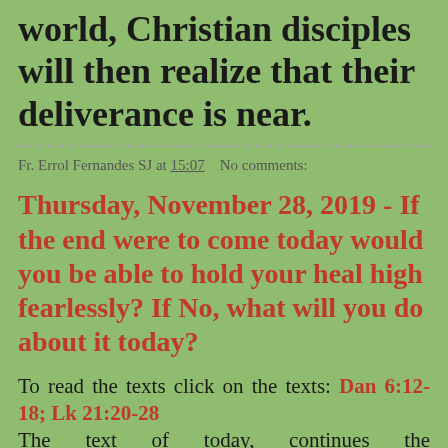world, Christian disciples will then realize that their deliverance is near.
Fr. Errol Fernandes SJ at 15:07    No comments:
Thursday, November 28, 2019 - If the end were to come today would you be able to hold your heal high fearlessly? If No, what will you do about it today?
To read the texts click on the texts: Dan 6:12-18; Lk 21:20-28 The text of today, continues the Eschatological Discourse, but speaks now of the destruction of Jerusalem and other